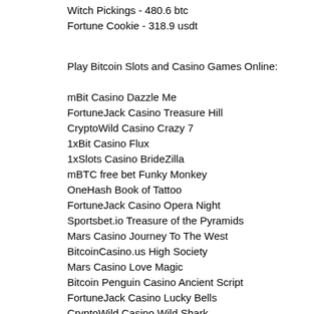Witch Pickings - 480.6 btc
Fortune Cookie - 318.9 usdt
Play Bitcoin Slots and Casino Games Online:
mBit Casino Dazzle Me
FortuneJack Casino Treasure Hill
CryptoWild Casino Crazy 7
1xBit Casino Flux
1xSlots Casino BrideZilla
mBTC free bet Funky Monkey
OneHash Book of Tattoo
FortuneJack Casino Opera Night
Sportsbet.io Treasure of the Pyramids
Mars Casino Journey To The West
BitcoinCasino.us High Society
Mars Casino Love Magic
Bitcoin Penguin Casino Ancient Script
FortuneJack Casino Lucky Bells
CryptoWild Casino Wild Shark